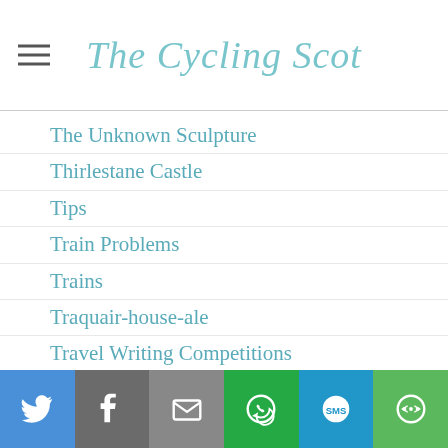The Cycling Scot
The Unknown Sculpture
Thirlestane Castle
Tips
Train Problems
Trains
Traquair-house-ale
Travel Writing Competitions
Trimontium
UNESCO Trail
Union Canal
Vogrie Country Park
Vulpine
Walk
Wanderlust Magazine
Waterfall
Share bar: Twitter, Facebook, Email, WhatsApp, SMS, More